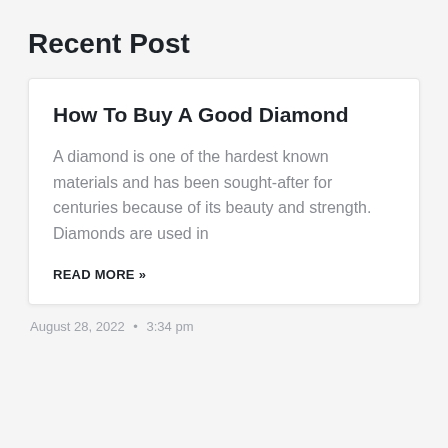Recent Post
How To Buy A Good Diamond
A diamond is one of the hardest known materials and has been sought-after for centuries because of its beauty and strength. Diamonds are used in
READ MORE »
August 28, 2022  •  3:34 pm